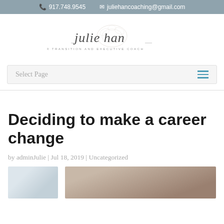📞 917.748.9545   ✉ juliehancoaching@gmail.com
[Figure (logo): Julie Han – Career Transition and Executive Coach script logo with floral illustration]
Select Page
Deciding to make a career change
by adminJulie | Jul 18, 2019 | Uncategorized
[Figure (photo): Two photos side by side: left shows a person in a bright setting, right shows a woman with brown hair]